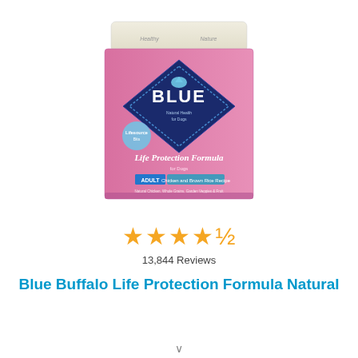[Figure (photo): Blue Buffalo Life Protection Formula dog food bag, pink/magenta bag with BLUE brand diamond logo, Adult Chicken and Brown Rice Recipe]
★★★★½
13,844 Reviews
Blue Buffalo Life Protection Formula Natural